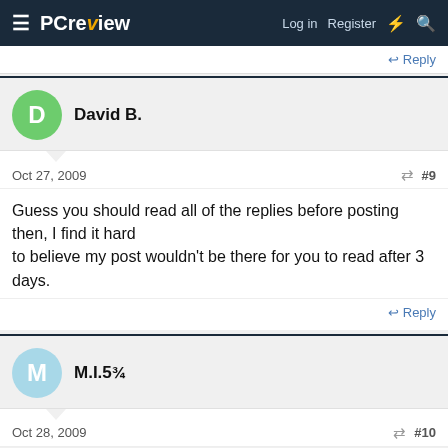PC review — Log in  Register
Reply
David B.
Oct 27, 2009  #9
Guess you should read all of the replies before posting then, I find it hard
to believe my post wouldn't be there for you to read after 3 days.
Reply
M.I.5¾
Oct 28, 2009  #10